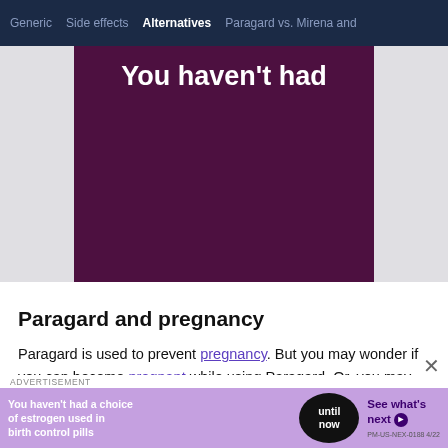Generic  Side effects  Alternatives  Paragard vs. Mirena and
[Figure (other): Purple/maroon advertisement banner with white bold text reading 'You haven't had' at the top]
Paragard and pregnancy
Paragard is used to prevent pregnancy. But you may wonder if you can become pregnant while using Paragard. Or, you may wonder if you should continue
ADVERTISEMENT
[Figure (other): Purple advertisement banner: 'You haven't had a choice of estrogen used in birth control pills' with circular black badge 'until now' and 'See what's next >' on right. PM-US-NEX-0188 4/22]